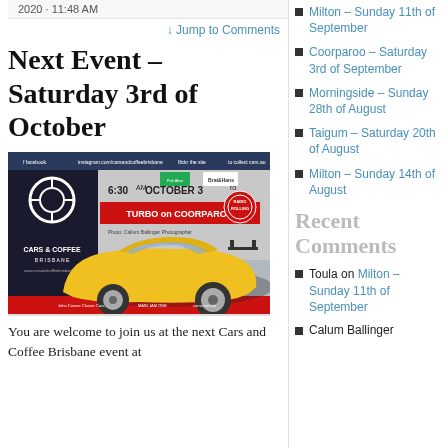2020 · 11:48 AM
↓ Jump to Comments
Next Event – Saturday 3rd of October
[Figure (photo): Cars and Coffee Brisbane promotional flyer featuring a yellow Porsche sports car. Text reads '6:30AM OCTOBER 3rd TURBO on COORPAROO'. Includes Cars & Coffee Brisbane logo, sponsor logos including John Conner Classic Cars, and Radio Rolling logo.]
You are welcome to join us at the next Cars and Coffee Brisbane event at
Milton – Sunday 11th of September
Coorparoo – Saturday 3rd of September
Morningside – Sunday 28th of August
Taigum – Saturday 20th of August
Milton – Sunday 14th of August
Recent Comments
Toula on Milton – Sunday 11th of September
Calum Ballinger